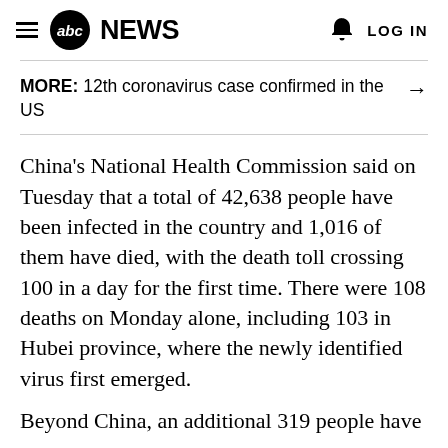≡ abc NEWS  🔔 LOG IN
MORE: 12th coronavirus case confirmed in the US →
China's National Health Commission said on Tuesday that a total of 42,638 people have been infected in the country and 1,016 of them have died, with the death toll crossing 100 in a day for the first time. There were 108 deaths on Monday alone, including 103 in Hubei province, where the newly identified virus first emerged.
Beyond China, an additional 319 people have